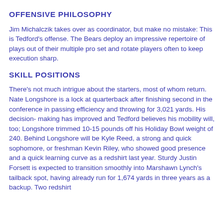OFFENSIVE PHILOSOPHY
Jim Michalczik takes over as coordinator, but make no mistake: This is Tedford's offense. The Bears deploy an impressive repertoire of plays out of their multiple pro set and rotate players often to keep execution sharp.
SKILL POSITIONS
There's not much intrigue about the starters, most of whom return. Nate Longshore is a lock at quarterback after finishing second in the conference in passing efficiency and throwing for 3,021 yards. His decision- making has improved and Tedford believes his mobility will, too; Longshore trimmed 10-15 pounds off his Holiday Bowl weight of 240. Behind Longshore will be Kyle Reed, a strong and quick sophomore, or freshman Kevin Riley, who showed good presence and a quick learning curve as a redshirt last year. Sturdy Justin Forsett is expected to transition smoothly into Marshawn Lynch's tailback spot, having already run for 1,674 yards in three years as a backup. Two redshirt